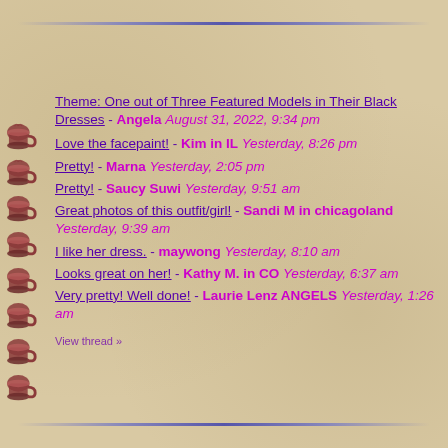Theme: One out of Three Featured Models in Their Black Dresses - Angela August 31, 2022, 9:34 pm
Love the facepaint! - Kim in IL Yesterday, 8:26 pm
Pretty! - Marna Yesterday, 2:05 pm
Pretty! - Saucy Suwi Yesterday, 9:51 am
Great photos of this outfit/girl! - Sandi M in chicagoland Yesterday, 9:39 am
I like her dress. - maywong Yesterday, 8:10 am
Looks great on her! - Kathy M. in CO Yesterday, 6:37 am
Very pretty! Well done! - Laurie Lenz ANGELS Yesterday, 1:26 am
View thread »